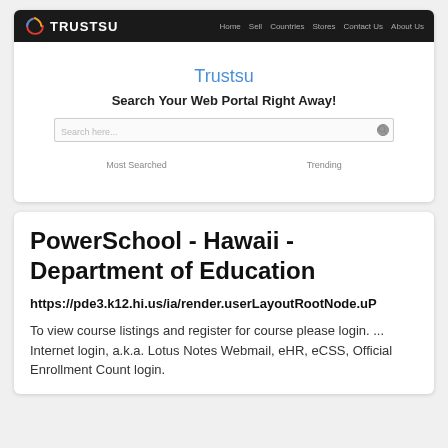[Figure (screenshot): Screenshot of Trustsu website with dark navigation bar showing the Trustsu logo, a central search interface with the title 'Trustsu', subtitle 'Search Your Web Portal Right Away!', a search bar, and labels 'Most Searched' and 'Trending' at the bottom.]
PowerSchool - Hawaii - Department of Education
https://pde3.k12.hi.us/ia/render.userLayoutRootNode.uP
To view course listings and register for course please login. ... Internet login, a.k.a. Lotus Notes Webmail, eHR, eCSS, Official Enrollment Count login.